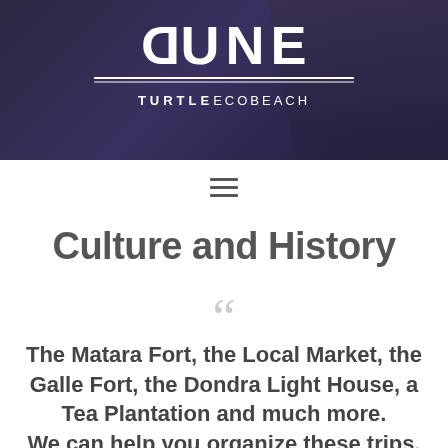[Figure (logo): DUNE TURTLE ECOBEACH logo on dark purple/navy background with decorative lines]
Navigation menu hamburger icon
Culture and History
The Matara Fort, the Local Market, the Galle Fort, the Dondra Light House, a Tea Plantation and much more. We can help you organize these trips.